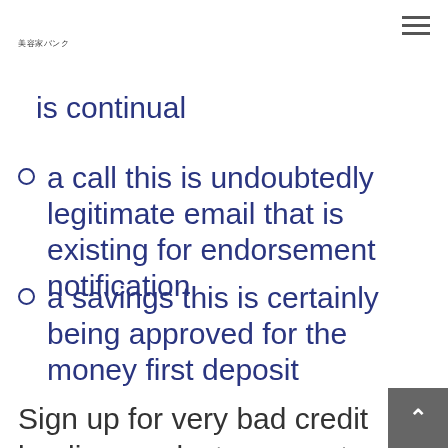美容家バンク
is continual
a call this is undoubtedly legitimate email that is existing for endorsement notification
a savings this is certainly being approved for the money first deposit
Sign up for very bad credit lending products guaranteed in full affirmation from drive loan company and obtain guaranteed this is actually fasting within moments which are number of. Poor cr…